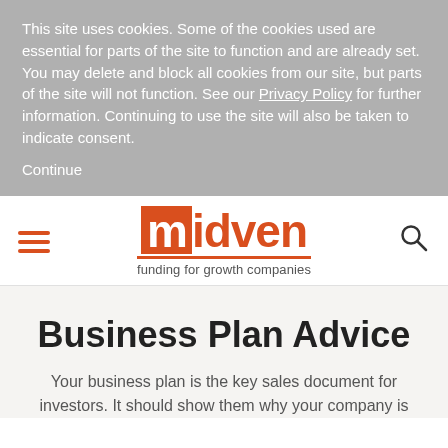This site uses cookies. Some of the cookies used are essential for parts of the site to function and are already set. You may delete and block all cookies from our site, but parts of the site will not function. See our Privacy Policy for further information. Continuing to use the site will also be taken to indicate consent.
Continue
[Figure (logo): Midven logo: orange square with white 'm', followed by 'idven' in orange text, with orange underline and tagline 'funding for growth companies']
Business Plan Advice
Your business plan is the key sales document for investors. It should show them why your company is